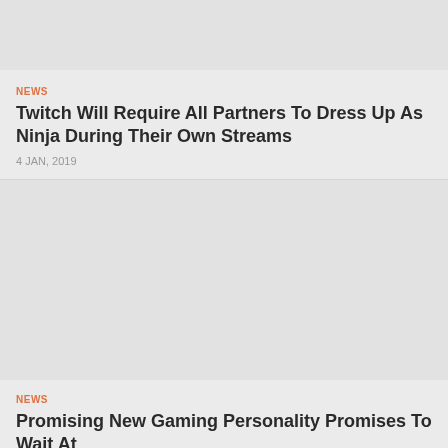[Figure (photo): Image placeholder for first article]
NEWS
Twitch Will Require All Partners To Dress Up As Ninja During Their Own Streams
4 JAN, 2019
[Figure (photo): Image placeholder for second article]
NEWS
Promising New Gaming Personality Promises To Wait At